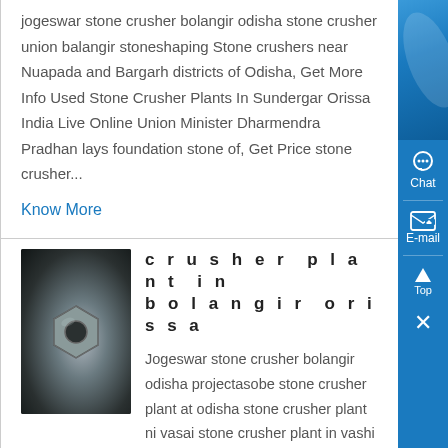jogeswar stone crusher bolangir odisha stone crusher union balangir stoneshaping Stone crushers near Nuapada and Bargarh districts of Odisha, Get More Info Used Stone Crusher Plants In Sundergar Orissa India Live Online Union Minister Dharmendra Pradhan lays foundation stone of, Get Price stone crusher...
Know More
[Figure (photo): Dark photo of a metal hex nut or bolt component]
crusher plant in bolangir orissa
Jogeswar stone crusher bolangir odisha projectasobe stone crusher plant at odisha stone crusher plant ni vasai stone crusher plant in vashi stone crushing equipment is designed to